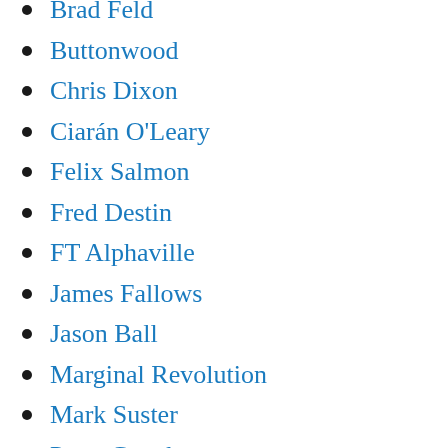Brad Feld
Buttonwood
Chris Dixon
Ciarán O'Leary
Felix Salmon
Fred Destin
FT Alphaville
James Fallows
Jason Ball
Marginal Revolution
Mark Suster
Peter Geoghegan
Public Inquiry
Slugger O'Toole
SpaceX
Tesla